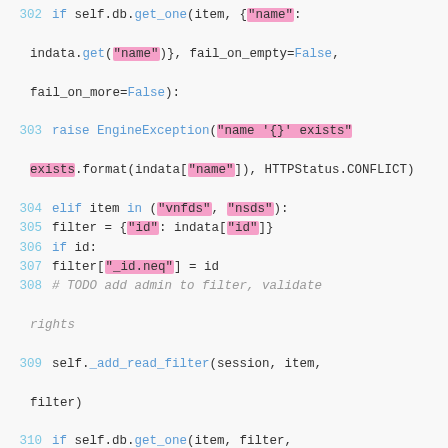[Figure (screenshot): Python source code snippet with line numbers 302-315, showing code for checking duplicate items in a database, with string literals highlighted in pink/magenta. Dark text on light gray background, monospace font.]